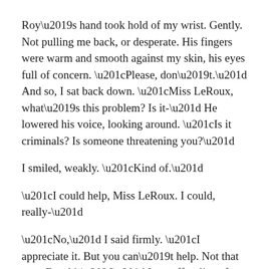Roy's hand took hold of my wrist. Gently. Not pulling me back, or desperate. His fingers were warm and smooth against my skin, his eyes full of concern. “Please, don’t.” And so, I sat back down. “Miss LeRoux, what’s this problem? Is it-” He lowered his voice, looking around. “Is it criminals? Is someone threatening you?”
I smiled, weakly. “Kind of.”
“I could help, Miss LeRoux. I could, really-”
“No,” I said firmly. “I appreciate it. But you can’t help. Not that way. But this…” I cut off a slice of corn bread, and dipped it into the sticky molasses coating the barbecued ribs. “This helps. It’s just… There’s a lot riding on this case.”